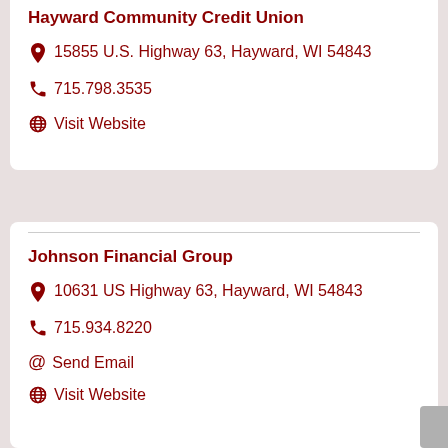Hayward Community Credit Union
15855 U.S. Highway 63, Hayward, WI 54843
715.798.3535
Visit Website
Johnson Financial Group
10631 US Highway 63, Hayward, WI 54843
715.934.8220
Send Email
Visit Website